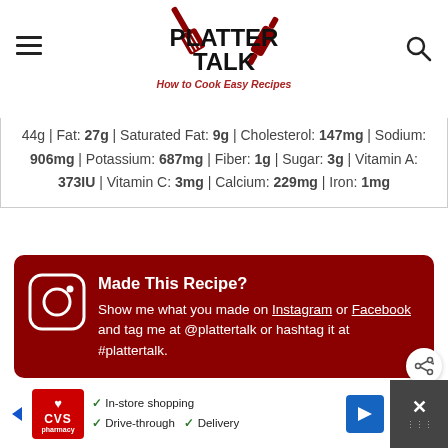PLATTER TALK — How to Cook Easy Recipes
44g | Fat: 27g | Saturated Fat: 9g | Cholesterol: 147mg | Sodium: 906mg | Potassium: 687mg | Fiber: 1g | Sugar: 3g | Vitamin A: 373IU | Vitamin C: 3mg | Calcium: 229mg | Iron: 1mg
Made This Recipe? Show me what you made on Instagram or Facebook and tag me at @plattertalk or hashtag it at #plattertalk.
Crispy Ranch
[Figure (screenshot): CVS Pharmacy advertisement bar showing in-store shopping, drive-through, and delivery options]